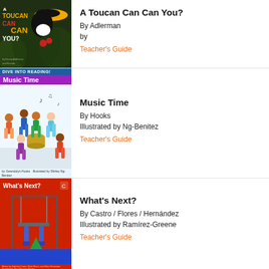[Figure (illustration): Book cover for 'A Toucan Can Can You?' showing a toucan bird on a dark jungle background with colorful title text]
A Toucan Can Can You?
By Adlerman
by
Teacher's Guide
[Figure (illustration): Book cover for 'Music Time' from the Dive Into Reading series, showing children playing musical instruments]
Music Time
By Hooks
Illustrated by Ng-Benitez
Teacher's Guide
[Figure (illustration): Book cover for 'What's Next?' showing an orange/red cover with a child on a swing and geometric shapes]
What's Next?
By Castro / Flores / Hernández
Illustrated by Ramírez-Greene
Teacher's Guide